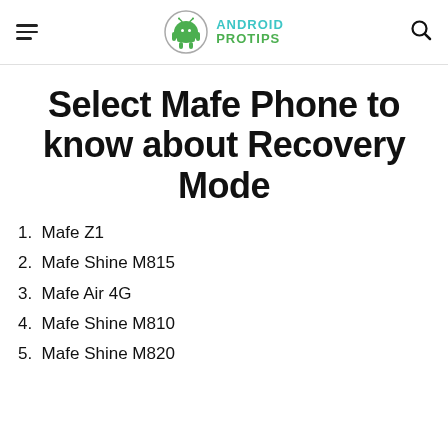Android Pro Tips
Select Mafe Phone to know about Recovery Mode
1. Mafe Z1
2. Mafe Shine M815
3. Mafe Air 4G
4. Mafe Shine M810
5. Mafe Shine M820